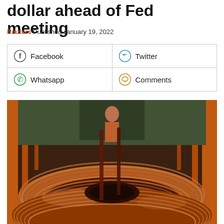dollar ahead of Fed meeting
Reuters Published January 19, 2022
| Facebook | Twitter |
| Whatsapp | Comments |
[Figure (photo): Large coils of copper wire/rod in an industrial factory setting, with a worker visible in the background among orange metal structures.]